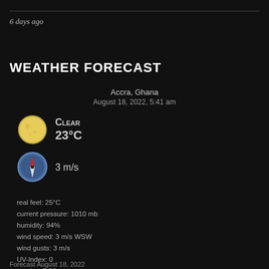6 days ago
WEATHER FORECAST
Accra, Ghana
August 18, 2022, 5:41 am
[Figure (illustration): Yellow moon/clear night weather icon]
CLEAR
23°C
[Figure (illustration): Compass wind direction icon]
3 m/s
real feel: 25°C
current pressure: 1010 mb
humidity: 94%
wind speed: 3 m/s WSW
wind gusts: 3 m/s
UV-Index: 0
sunrise: 5:56 am
sunset: 6:13 pm
© 2022 AccuWeather, Inc.
Forecast August 18, 2022